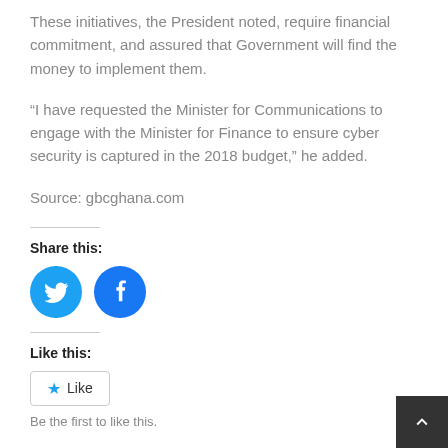These initiatives, the President noted, require financial commitment, and assured that Government will find the money to implement them.
“I have requested the Minister for Communications to engage with the Minister for Finance to ensure cyber security is captured in the 2018 budget,” he added.
Source: gbcghana.com
Share this:
[Figure (other): Twitter and Facebook social sharing icon buttons (circular blue icons)]
Like this:
[Figure (other): Like button widget with star icon]
Be the first to like this.